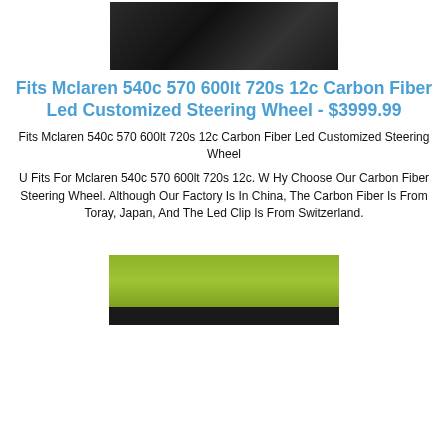[Figure (photo): Top-down view of a carbon fiber McLaren steering wheel, dark background]
Fits Mclaren 540c 570 600lt 720s 12c Carbon Fiber Led Customized Steering Wheel - $3999.99
Fits Mclaren 540c 570 600lt 720s 12c Carbon Fiber Led Customized Steering Wheel
U Fits For Mclaren 540c 570 600lt 720s 12c. W Hy Choose Our Carbon Fiber Steering Wheel. Although Our Factory Is In China, The Carbon Fiber Is From Toray, Japan, And The Led Clip Is From Switzerland.
[Figure (photo): Photo of a green/yellow-green carbon fiber surface with dark elements at the bottom, likely the steering wheel product detail]